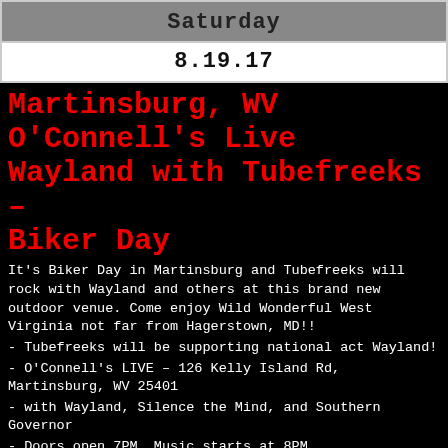Saturday
8.19.17
Martinsburg, WV O'Connell's Live Wayland with Tubefreeks – Biker Day
It's Biker Day in Martinsburg and Tubefreeks will rock with Wayland and others at this brand new outdoor venue. Come enjoy Wild Wonderful West Virginia not far from Hagerstown, MD!!
- Tubefreeks will be supporting national act Wayland!
- O'Connell's LIVE – 126 Kelly Island Rd, Martinsburg, WV 25401
- with Wayland, Silence the Mind, and Southern Governor
- Doors open 7PM, Music starts at 8PM
- Ages 21+, $10 Advance, $15 Day of Show